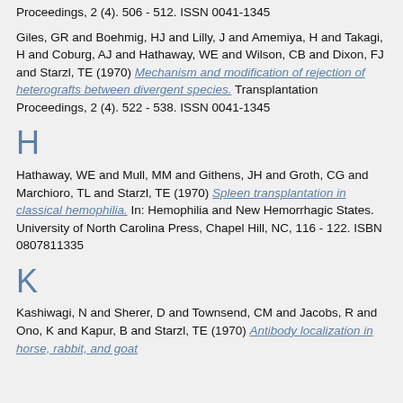Proceedings, 2 (4). 506 - 512. ISSN 0041-1345
Giles, GR and Boehmig, HJ and Lilly, J and Amemiya, H and Takagi, H and Coburg, AJ and Hathaway, WE and Wilson, CB and Dixon, FJ and Starzl, TE (1970) Mechanism and modification of rejection of heterografts between divergent species. Transplantation Proceedings, 2 (4). 522 - 538. ISSN 0041-1345
H
Hathaway, WE and Mull, MM and Githens, JH and Groth, CG and Marchioro, TL and Starzl, TE (1970) Spleen transplantation in classical hemophilia. In: Hemophilia and New Hemorrhagic States. University of North Carolina Press, Chapel Hill, NC, 116 - 122. ISBN 0807811335
K
Kashiwagi, N and Sherer, D and Townsend, CM and Jacobs, R and Ono, K and Kapur, B and Starzl, TE (1970) Antibody localization in horse, rabbit, and goat antibodies...